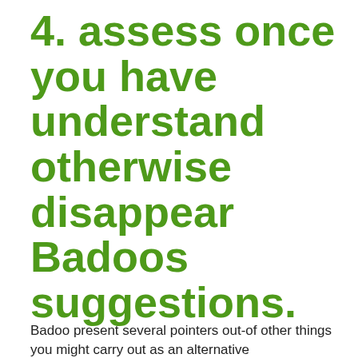4. assess once you have understand otherwise disappear Badoos suggestions.
Badoo present several pointers out-of other things you might carry out as an alternative